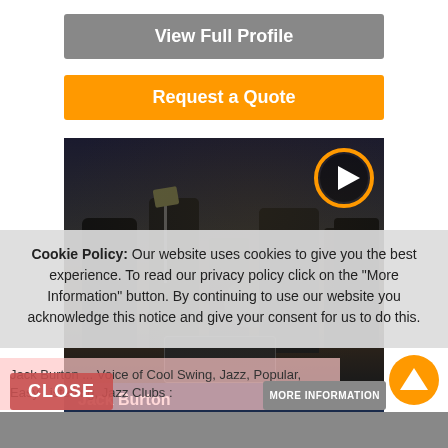View Full Profile
Request a Quote
[Figure (photo): Jack Burton band performing on stage, dark venue, multiple musicians visible]
Jack Burton
Available in Fort Worth
Based in: New York City, New York
(no reviews)
From: $5000
Cookie Policy: Our website uses cookies to give you the best experience. To read our privacy policy click on the "More Information" button. By continuing to use our website you acknowledge this notice and give your consent for us to do this.
Jack Burton ... Voice of Cool Swing, Jazz, Popular, Easy Listening, Jazz Clubs :
CLOSE
MORE INFORMATION